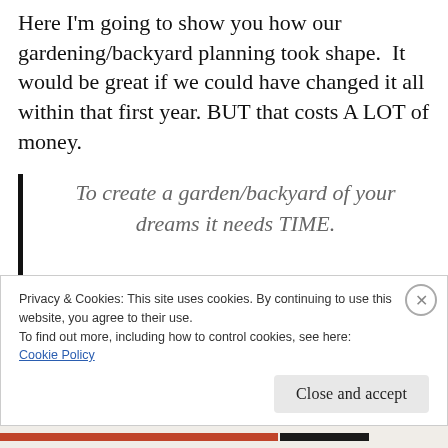Here I'm going to show you how our gardening/backyard planning took shape.  It would be great if we could have changed it all within that first year. BUT that costs A LOT of money.
To create a garden/backyard of your dreams it needs TIME.
When we bought this place we had one kid, now we have 3 and a puppy. Lots of changes.
Privacy & Cookies: This site uses cookies. By continuing to use this website, you agree to their use.
To find out more, including how to control cookies, see here:
Cookie Policy
Close and accept